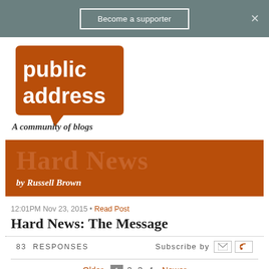Become a supporter
[Figure (logo): Public Address logo — speech bubble shape in brown/orange with white text 'public address', subtitle 'A community of blogs']
[Figure (logo): Hard News banner — brown/orange background with large text 'Hard News' and 'by Russell Brown']
12:01PM Nov 23, 2015 • Read Post
Hard News: The Message
83 RESPONSES   Subscribe by [email] [rss]
← Older  1  2  3  4  Newer →